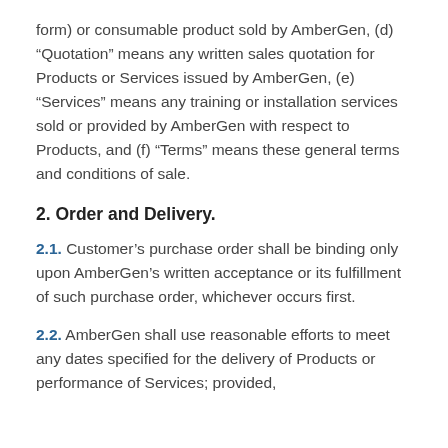form) or consumable product sold by AmberGen, (d) “Quotation” means any written sales quotation for Products or Services issued by AmberGen, (e) “Services” means any training or installation services sold or provided by AmberGen with respect to Products, and (f) “Terms” means these general terms and conditions of sale.
2. Order and Delivery.
2.1. Customer’s purchase order shall be binding only upon AmberGen’s written acceptance or its fulfillment of such purchase order, whichever occurs first.
2.2. AmberGen shall use reasonable efforts to meet any dates specified for the delivery of Products or performance of Services; provided,